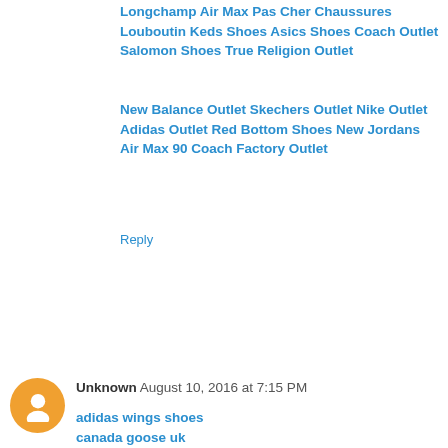Longchamp Air Max Pas Cher Chaussures Louboutin Keds Shoes Asics Shoes Coach Outlet Salomon Shoes True Religion Outlet
New Balance Outlet Skechers Outlet Nike Outlet Adidas Outlet Red Bottom Shoes New Jordans Air Max 90 Coach Factory Outlet
Reply
Unknown  August 10, 2016 at 7:15 PM
adidas wings shoes
canada goose uk
swarovski jewelry
moncler coats
pandora outlet
snapbacks wholesale
bottega veneta outlet online
michael kors outlet
futbol baratas
hermes outlet store
mlb jerseys